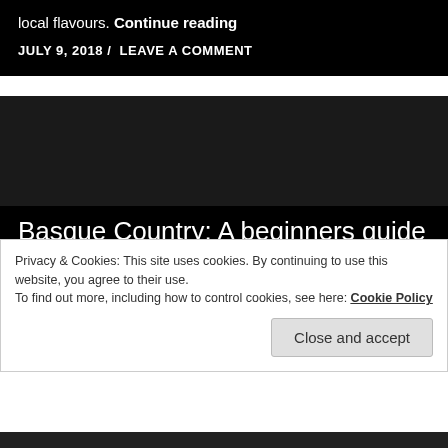local flavours. Continue reading
JULY 9, 2018 / LEAVE A COMMENT
Basque Country: A beginners guide to Pintxos
The Basque Country region in the north of Spain is famous for its lush greenery – thanks to its tendency to rain a lot – but also for its local type
Privacy & Cookies: This site uses cookies. By continuing to use this website, you agree to their use.
To find out more, including how to control cookies, see here: Cookie Policy
Close and accept